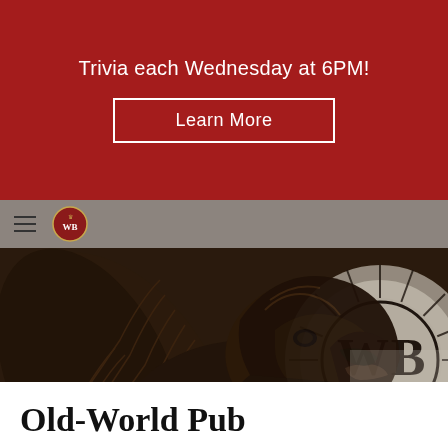Trivia each Wednesday at 6PM!
Learn More
[Figure (photo): Close-up photo of a dark bronze winged lion griffin statue, with a circular 'WB' emblem logo visible in the background on a frosted glass surface. The griffin is detailed with feathered wings and an open mouth.]
Old-World Pub